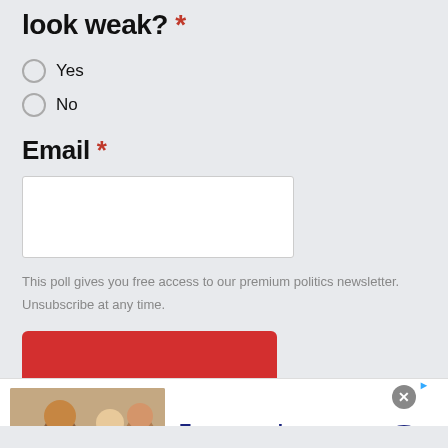look weak? *
Yes
No
Email *
This poll gives you free access to our premium politics newsletter. Unsubscribe at any time.
SUBMIT
[Figure (photo): Advertisement banner for Francesca's showing women in outdoor social setting. Text: Francesca's, 40% off almost everything, francescas.com]